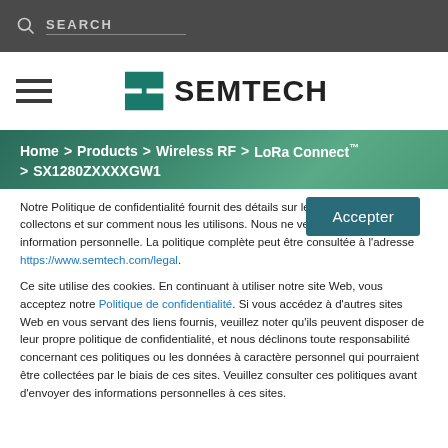SEARCH
[Figure (logo): Semtech logo with stylized S icon and SEMTECH wordmark]
Home > Products > Wireless RF > LoRa Connect™ > SX1280ZXXXXGW1
Notre Politique de confidentialité fournit des détails sur les données que nous collectons et sur comment nous les utilisons. Nous ne vendons aucune information personnelle. La politique complète peut être consultée à l'adresse https://www.semtech.com/legal.
Ce site utilise des cookies. En continuant à utiliser notre site Web, vous acceptez notre Politique de confidentialité. Si vous accédez à d'autres sites Web en vous servant des liens fournis, veuillez noter qu'ils peuvent disposer de leur propre politique de confidentialité, et nous déclinons toute responsabilité concernant ces politiques ou les données à caractère personnel qui pourraient être collectées par le biais de ces sites. Veuillez consulter ces politiques avant d'envoyer des informations personnelles à ces sites.